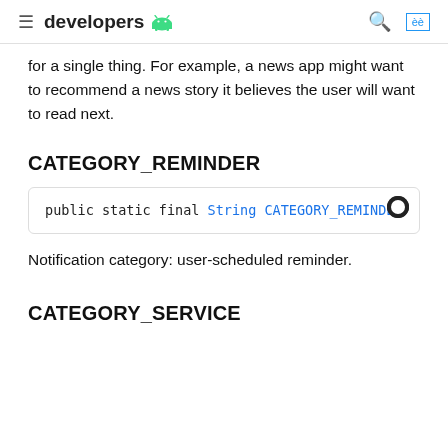developers
for a single thing. For example, a news app might want to recommend a news story it believes the user will want to read next.
CATEGORY_REMINDER
public static final String CATEGORY_REMINDER
Notification category: user-scheduled reminder.
CATEGORY_SERVICE